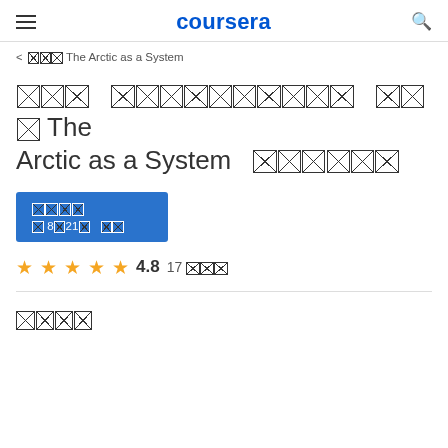coursera
< □□□ The Arctic as a System
□□□ □□□□□□□□□□ □□□ The Arctic as a System □□□□□□
□□□□  □ 8□21□ □□
★★★★★ 4.8  17 □□□
□□□□